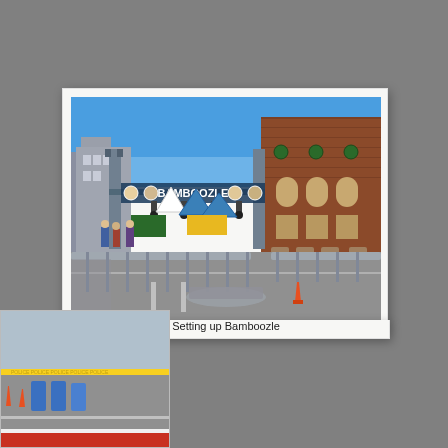[Figure (photo): Polaroid-style photograph of the Bamboozle music festival being set up on a street. A large metal gate/arch spans the street with 'Bamboozle' signage and banners. Metal crowd-control barriers line the road. A historic brick building is visible on the right. Blue sky above. People and vehicles visible in background. Orange traffic cone visible in foreground.]
Setting up Bamboozle
[Figure (photo): Partial photograph at bottom-left of page showing a street scene with yellow police/caution tape, blue chairs or objects, orange traffic cones, and road markings visible. Appears to be related to the Bamboozle festival setup.]